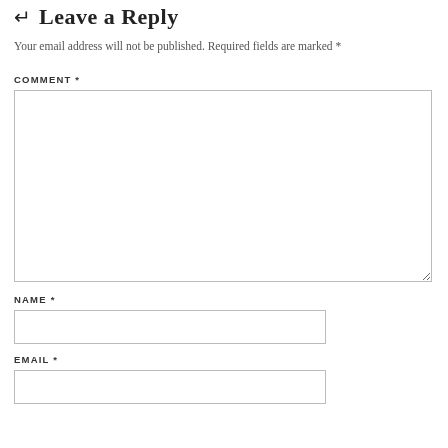Leave a Reply
Your email address will not be published. Required fields are marked *
COMMENT *
NAME *
EMAIL *